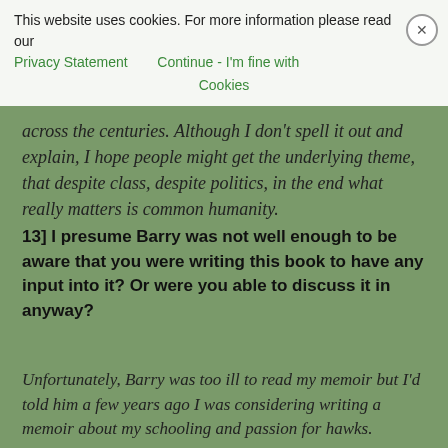This website uses cookies. For more information please read our Privacy Statement   Continue - I'm fine with Cookies
across the centuries. Although I don't spell it out and explain, I hope people might get the underlying theme, that despite class, despite politics, in the end what really matters is common humanity.
13] I presume Barry was not well enough to be aware that you were writing this book to have any input into it? Or were you able to discuss it in anyway?
Unfortunately, Barry was too ill to read my memoir but I'd told him a few years ago I was considering writing a memoir about my schooling and passion for hawks.